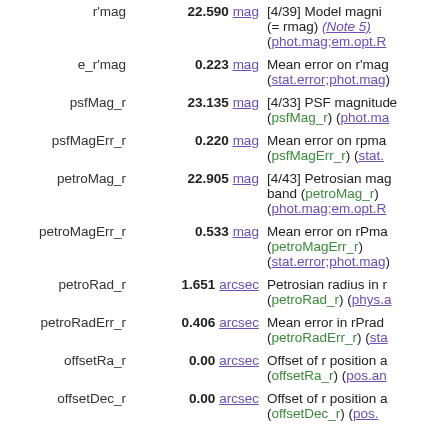| Name | Value | Unit | Description |
| --- | --- | --- | --- |
| r'mag | 22.590 | mag | [4/39] Model magni (= rmag) (Note 5) (phot.mag;em.opt.R |
| e_r'mag | 0.223 | mag | Mean error on r'mag (stat.error;phot.mag) |
| psfMag_r | 23.135 | mag | [4/33] PSF magnitude (psfMag_r) (phot.ma |
| psfMagErr_r | 0.220 | mag | Mean error on rpma (psfMagErr_r) (stat. |
| petroMag_r | 22.905 | mag | [4/43] Petrosian mag band (petroMag_r) (phot.mag;em.opt.R |
| petroMagErr_r | 0.533 | mag | Mean error on rPma (petroMagErr_r) (stat.error;phot.mag) |
| petroRad_r | 1.651 | arcsec | Petrosian radius in r (petroRad_r) (phys.a |
| petroRadErr_r | 0.406 | arcsec | Mean error in rPrad (petroRadErr_r) (sta |
| offsetRa_r | 0.00 | arcsec | Offset of r position a (offsetRa_r) (pos.an |
| offsetDec_r | 0.00 | arcsec | Offset of r position a (offsetDec_r) (pos. |